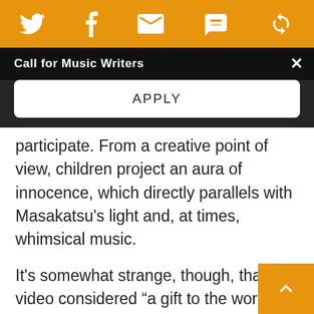[Figure (screenshot): Orange top bar with social media icons: Twitter bird, Facebook f, envelope/email, SMS speech bubble, and a circular arrow/share icon]
Call for Music Writers
APPLY
participate. From a creative point of view, children project an aura of innocence, which directly parallels with Masakatsu's light and, at times, whimsical music.
It's somewhat strange, though, that a video considered “a gift to the world” doesn’t feel worldly enough. Although each video was shot in a different country, the atmosphere and flavor of those countries were missing. The animation made it hard to decipher where these people were